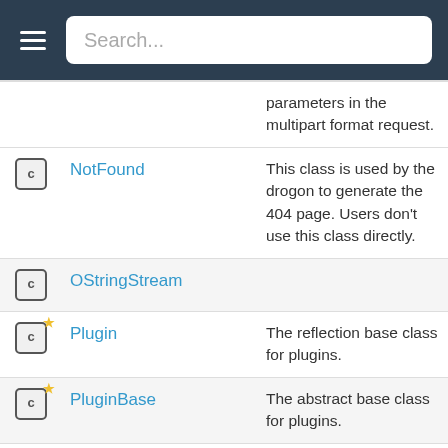Search...
|  | Name | Description |
| --- | --- | --- |
|  |  | parameters in the multipart format request. |
| C | NotFound | This class is used by the drogon to generate the 404 page. Users don't use this class directly. |
| C | OStringStream |  |
| C* | Plugin | The reflection base class for plugins. |
| C* | PluginBase | The abstract base class for plugins. |
| C | PubSubService | This class template |